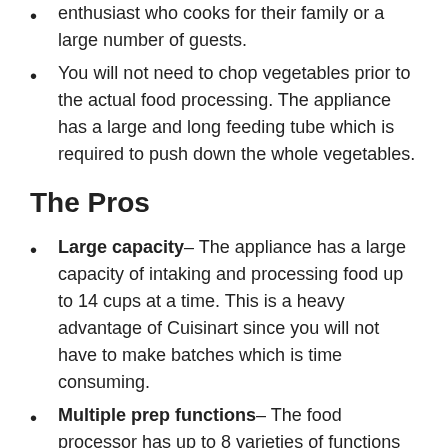enthusiast who cooks for their family or a large number of guests.
You will not need to chop vegetables prior to the actual food processing. The appliance has a large and long feeding tube which is required to push down the whole vegetables.
The Pros
Large capacity– The appliance has a large capacity of intaking and processing food up to 14 cups at a time. This is a heavy advantage of Cuisinart since you will not have to make batches which is time consuming.
Multiple prep functions– The food processor has up to 8 varieties of functions which enhances its credibility to be the top food